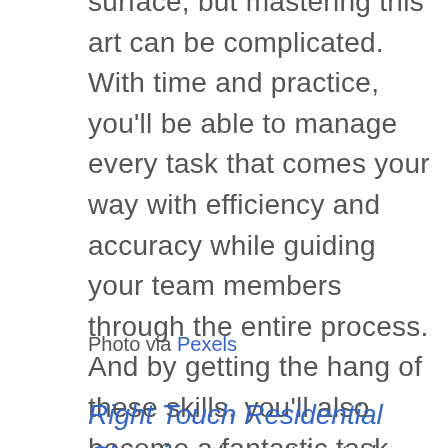surface, but mastering this art can be complicated. With time and practice, you'll be able to manage every task that comes your way with efficiency and accuracy while guiding your team members through the entire process. And by getting the hang of these skills, you'll also become a fantastic task manager outside of the workplace, whether you're working toward personal goals, outsourcing a cleaning service, or trying to organize your household.
Photo via Pexels
Right Touch Residential Cleaning doesn't just clean your home. We give you your life back!